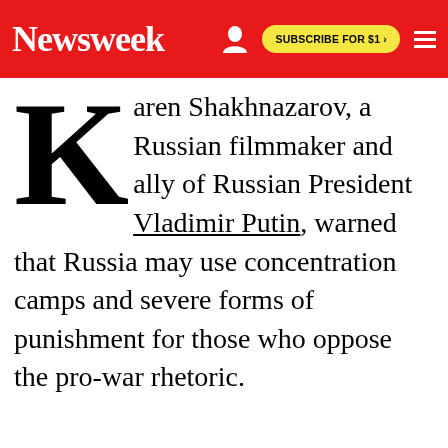Newsweek  SUBSCRIBE FOR $1 >
Karen Shakhnazarov, a Russian filmmaker and ally of Russian President Vladimir Putin, warned that Russia may use concentration camps and severe forms of punishment for those who oppose the pro-war rhetoric.